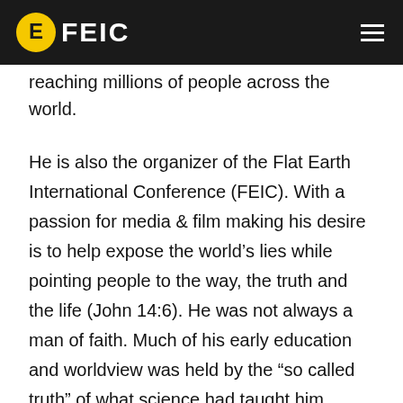FEIC
reaching millions of people across the world.
He is also the organizer of the Flat Earth International Conference (FEIC). With a passion for media & film making his desire is to help expose the world’s lies while pointing people to the way, the truth and the life (John 14:6). He was not always a man of faith. Much of his early education and worldview was held by the “so called truth” of what science had taught him.
After becoming a Christian at the age of 21 he attended Northwest Baptist College and has been involved in various